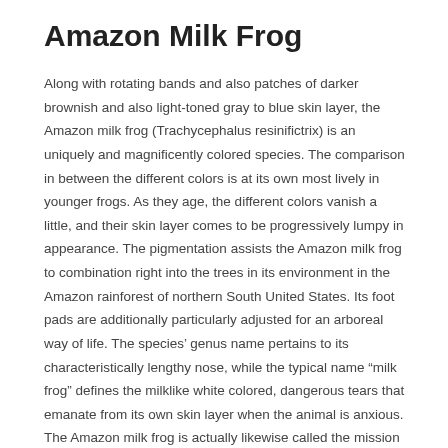Amazon Milk Frog
Along with rotating bands and also patches of darker brownish and also light-toned gray to blue skin layer, the Amazon milk frog (Trachycephalus resinifictrix) is an uniquely and magnificently colored species. The comparison in between the different colors is at its own most lively in younger frogs. As they age, the different colors vanish a little, and their skin layer comes to be progressively lumpy in appearance. The pigmentation assists the Amazon milk frog to combination right into the trees in its environment in the Amazon rainforest of northern South United States. Its foot pads are additionally particularly adjusted for an arboreal way of life. The species’ genus name pertains to its characteristically lengthy nose, while the typical name “milk frog” defines the milklike white colored, dangerous tears that emanate from its own skin layer when the animal is anxious. The Amazon milk frog is actually likewise called the mission golden-eyed tree frog for the impressive gold-and-black cross trend in the eye of its own eye.